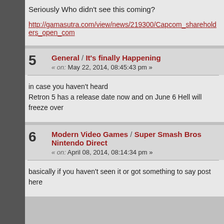Seriously Who didn't see this coming?
http://gamasutra.com/view/news/219300/Capcom_shareholders_open_com...
5  General / It's finally Happening  « on: May 22, 2014, 08:45:43 pm »
in case you haven't heard
Retron 5 has a release date now and on June 6 Hell will freeze over
6  Modern Video Games / Super Smash Bros Nintendo Direct  « on: April 08, 2014, 08:14:34 pm »
basically if you haven't seen it or got something to say post here